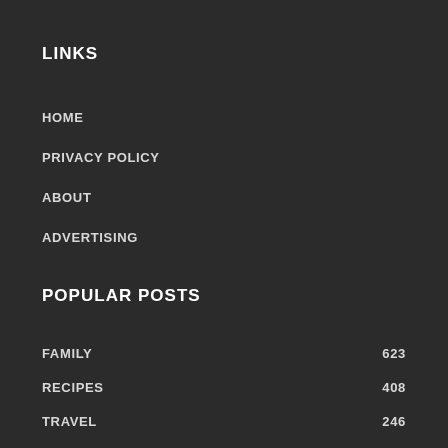LINKS
HOME
PRIVACY POLICY
ABOUT
ADVERTISING
POPULAR POSTS
FAMILY 623
RECIPES 408
TRAVEL 246
WELLNESS 221
HOME AND GARDEN 153